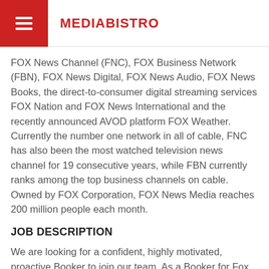MEDIABISTRO
FOX News Channel (FNC), FOX Business Network (FBN), FOX News Digital, FOX News Audio, FOX News Books, the direct-to-consumer digital streaming services FOX Nation and FOX News International and the recently announced AVOD platform FOX Weather. Currently the number one network in all of cable, FNC has also been the most watched television news channel for 19 consecutive years, while FBN currently ranks among the top business channels on cable. Owned by FOX Corporation, FOX News Media reaches 200 million people each month.
JOB DESCRIPTION
We are looking for a confident, highly motivated, proactive Booker to join our team. As a Booker for Fox News Primetime, you will be responsible for securing interviews with high profile